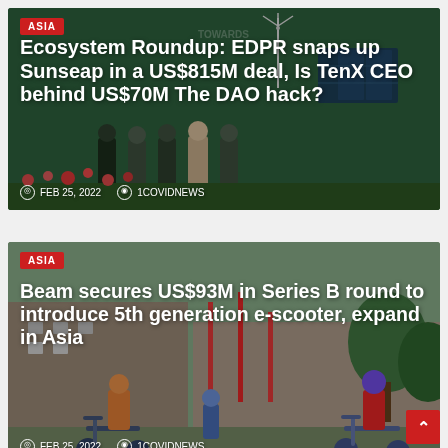[Figure (photo): News card 1: Group of people in masks at an awards ceremony with solar panels in the background, dark green theme. Badge: ASIA.]
Ecosystem Roundup: EDPR snaps up Sunseap in a US$815M deal, Is TenX CEO behind US$70M The DAO hack?
FEB 25, 2022   1COVIDNEWS
[Figure (photo): News card 2: Children and adults riding e-scooters outdoors in a park/street setting. Badge: ASIA.]
Beam secures US$93M in Series B round to introduce 5th generation e-scooter, expand in Asia
FEB 25, 2022   1COVIDNEWS